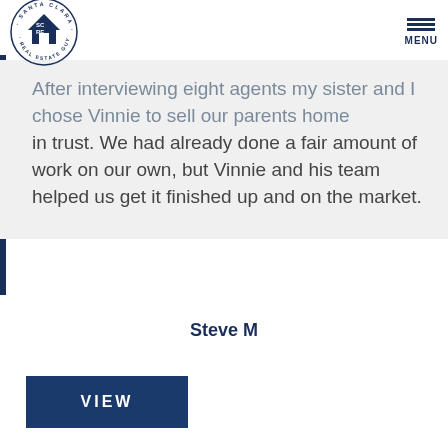SCRE Santa Clara Real Estate Guy — MENU
After interviewing eight agents my sister and I chose Vinnie to sell our parents home in trust. We had already done a fair amount of work on our own, but Vinnie and his team helped us get it finished up and on the market.
Steve M
VIEW